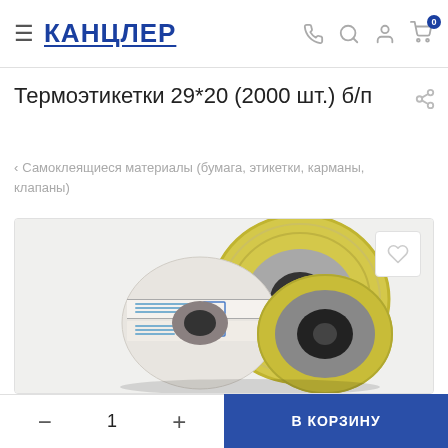КАНЦЛЕР
Термоэтикетки 29*20 (2000 шт.) б/п
Самоклеящиеся материалы (бумага, этикетки, карманы, клапаны)
[Figure (photo): Rolls of thermal labels (термоэтикетки), yellow/white label rolls with printed label visible]
1
В КОРЗИНУ